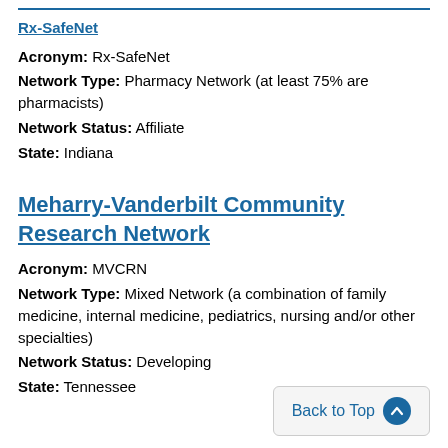Rx-SafeNet
Acronym: Rx-SafeNet
Network Type: Pharmacy Network (at least 75% are pharmacists)
Network Status: Affiliate
State: Indiana
Meharry-Vanderbilt Community Research Network
Acronym: MVCRN
Network Type: Mixed Network (a combination of family medicine, internal medicine, pediatrics, nursing and/or other specialties)
Network Status: Developing
State: Tennessee